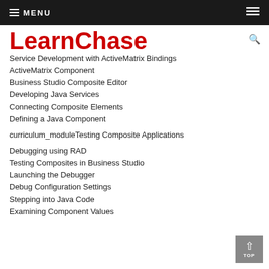MENU
LearnChase
Service Development with ActiveMatrix Bindings
ActiveMatrix Component
Business Studio Composite Editor
Developing Java Services
Connecting Composite Elements
Defining a Java Component
curriculum_moduleTesting Composite Applications
Debugging using RAD
Testing Composites in Business Studio
Launching the Debugger
Debug Configuration Settings
Stepping into Java Code
Examining Component Values